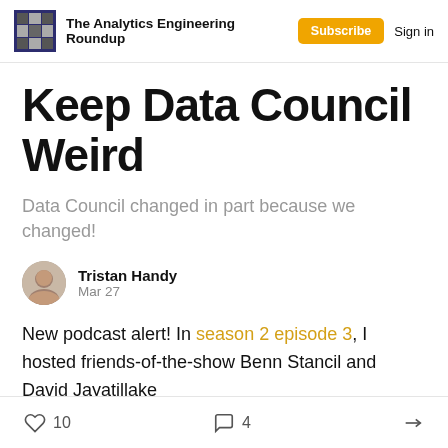The Analytics Engineering Roundup | Subscribe | Sign in
Keep Data Council Weird
Data Council changed in part because we changed!
Tristan Handy
Mar 27
New podcast alert! In season 2 episode 3, I hosted friends-of-the-show Benn Stancil and David Jayatillake
10 likes  4 comments  Share